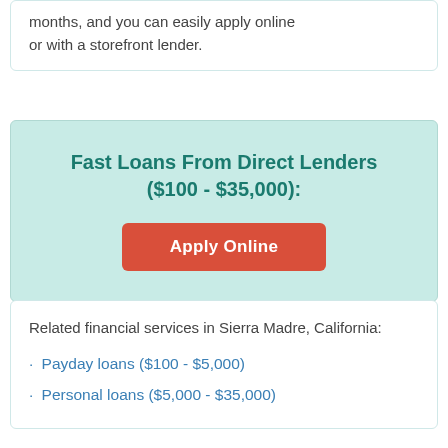months, and you can easily apply online or with a storefront lender.
Fast Loans From Direct Lenders ($100 - $35,000):
Apply Online
Related financial services in Sierra Madre, California:
Payday loans ($100 - $5,000)
Personal loans ($5,000 - $35,000)